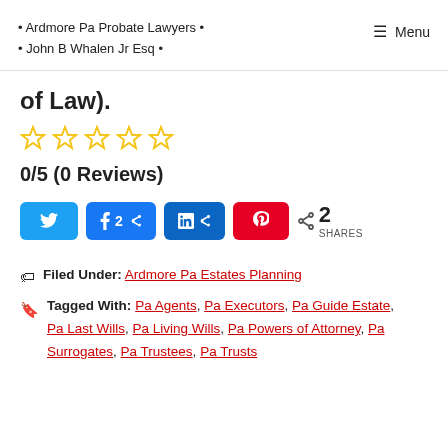• Ardmore Pa Probate Lawyers • • John B Whalen Jr Esq •  ☰ Menu
of Law).
[Figure (other): 5 empty star rating icons in gold/yellow outline]
0/5 (0 Reviews)
[Figure (other): Social sharing buttons: Twitter, Facebook (2), LinkedIn, Pinterest, and share count of 2 SHARES]
Filed Under: Ardmore Pa Estates Planning
Tagged With: Pa Agents, Pa Executors, Pa Guide Estate, Pa Last Wills, Pa Living Wills, Pa Powers of Attorney, Pa Surrogates, Pa Trustees, Pa Trusts